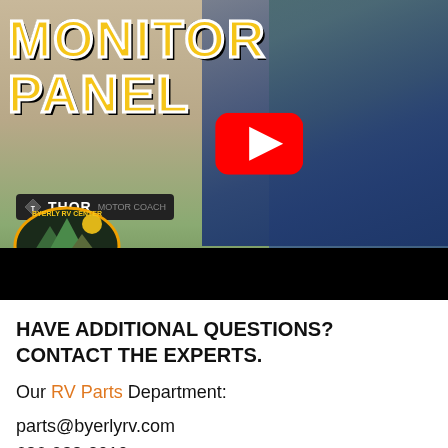[Figure (screenshot): YouTube video thumbnail showing a man in a navy Byerly RV Center polo shirt, with large yellow 'MONITOR PANEL' text overlay, a YouTube play button in the center, THOR RV logo panel visible, and Byerly RV Center St. Louis Missouri badge in bottom left. Green bar at top, black bar at bottom of thumbnail.]
HAVE ADDITIONAL QUESTIONS?  CONTACT THE EXPERTS.
Our RV Parts Department:
parts@byerlyrv.com
636-938-2010